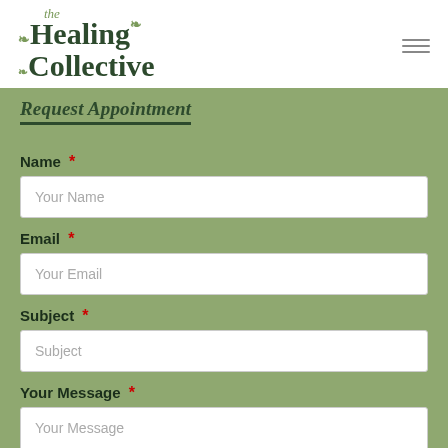the Healing Collective
Request Appointment
Name *
Your Name
Email *
Your Email
Subject *
Subject
Your Message *
Your Message